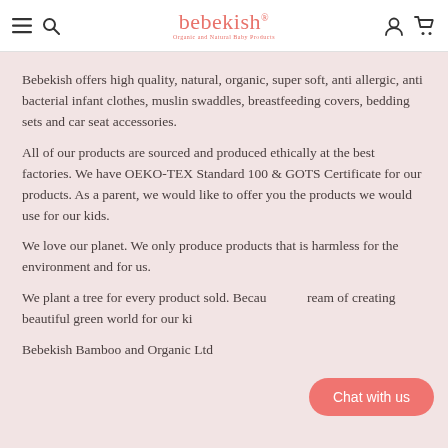bebekish® — Organic and Natural Baby Products
Bebekish offers high quality, natural, organic, super soft, anti allergic, anti bacterial infant clothes, muslin swaddles, breastfeeding covers, bedding sets and car seat accessories.
All of our products are sourced and produced ethically at the best factories. We have OEKO-TEX Standard 100 & GOTS Certificate for our products. As a parent, we would like to offer you the products we would use for our kids.
We love our planet. We only produce products that is harmless for the environment and for us.
We plant a tree for every product sold. Because we dream of creating beautiful green world for our kids.
Bebekish Bamboo and Organic Ltd